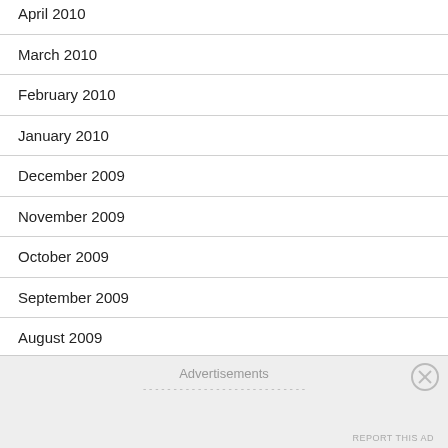April 2010
March 2010
February 2010
January 2010
December 2009
November 2009
October 2009
September 2009
August 2009
July 2009
June 2009
May 2009
April 2009
Advertisements
REPORT THIS AD